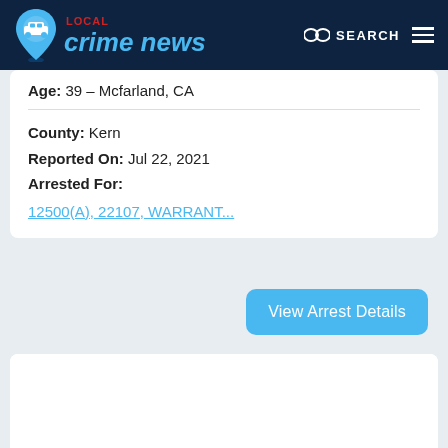LOCAL crime news — SEARCH
Age: 39 – Mcfarland, CA
County: Kern
Reported On: Jul 22, 2021
Arrested For:
12500(A), 22107, WARRANT...
View Arrest Details
Michael Gonzalez
Age: 39 – Mcfarland, CA
County: Kern